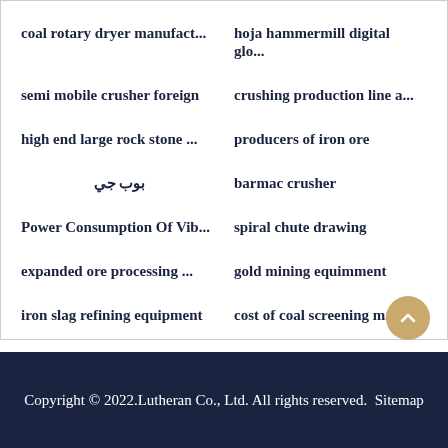coal rotary dryer manufact...
hoja hammermill digital glo...
semi mobile crusher foreign
crushing production line a...
high end large rock stone ...
producers of iron ore
بوب جي
barmac crusher
Power Consumption Of Vib...
spiral chute drawing
expanded ore processing ...
gold mining equimment
iron slag refining equipment
cost of coal screening mac...
Copyright © 2022.Lutheran Co., Ltd. All rights reserved.  Sitemap